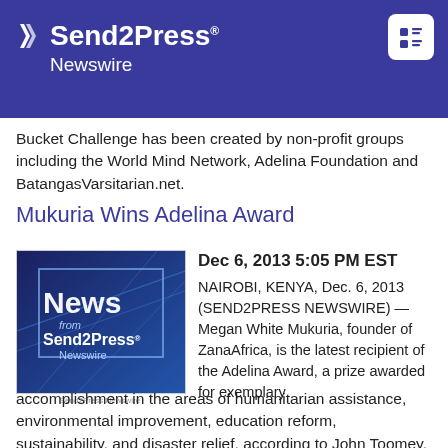Send2Press Newswire
Bucket Challenge has been created by non-profit groups including the World Mind Network, Adelina Foundation and BatangasVarsitarian.net.
Mukuria Wins Adelina Award
[Figure (photo): News from Send2Press Newswire - blue-toned image with text overlay]
Dec 6, 2013 5:05 PM EST NAIROBI, KENYA, Dec. 6, 2013 (SEND2PRESS NEWSWIRE) — Megan White Mukuria, founder of ZanaAfrica, is the latest recipient of the Adelina Award, a prize awarded for exemplary accomplishment in the areas of humanitarian assistance, environmental improvement, education reform, sustainability, and disaster relief, according to John Toomey, Eula Laki and Lydia Ramos of Friends Beyond Borders and the World Mind Network, co-chairs of the